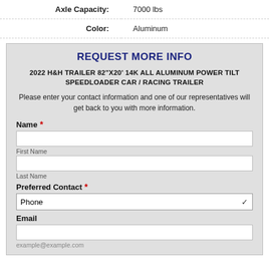| Axle Capacity: | 7000 lbs |
| Color: | Aluminum |
REQUEST MORE INFO
2022 H&H TRAILER 82"X20' 14K ALL ALUMINUM POWER TILT SPEEDLOADER CAR / RACING TRAILER
Please enter your contact information and one of our representatives will get back to you with more information.
Name *
First Name
Last Name
Preferred Contact *
Phone
Email
example@example.com